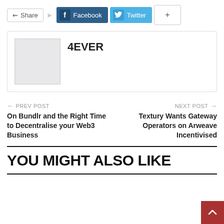[Figure (screenshot): Share bar with Share button, Facebook button, Twitter button, and plus button]
[Figure (other): Author card with placeholder image and author name 4EVER]
PREV POST
On Bundlr and the Right Time to Decentralise your Web3 Business
NEXT POST
Textury Wants Gateway Operators on Arweave Incentivised
YOU MIGHT ALSO LIKE